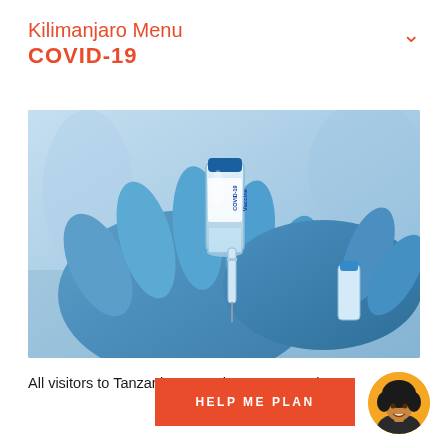Kilimanjaro Menu
COVID-19
[Figure (photo): Close-up photograph of blue-gloved hands holding a COVID-19 vaccine vial and syringe, inserting needle into the vial top.]
All visitors to Tanzania must take a PCR test in
HELP ME PLAN